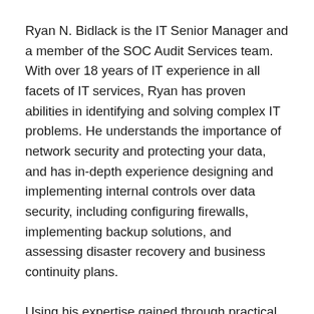Ryan N. Bidlack is the IT Senior Manager and a member of the SOC Audit Services team. With over 18 years of IT experience in all facets of IT services, Ryan has proven abilities in identifying and solving complex IT problems. He understands the importance of network security and protecting your data, and has in-depth experience designing and implementing internal controls over data security, including configuring firewalls, implementing backup solutions, and assessing disaster recovery and business continuity plans.
Using his expertise gained through practical hands-on IT experience, Ryan began performing IT internal controls — SOC 1 and SOC 2 audits for service